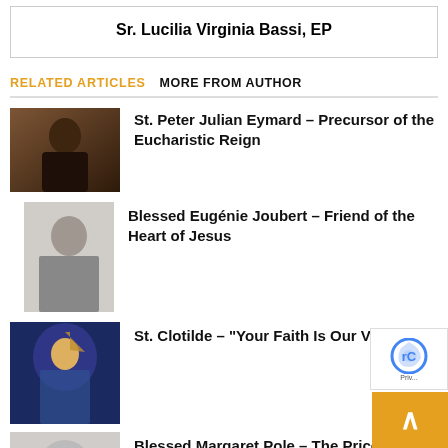Sr. Lucilia Virginia Bassi, EP
RELATED ARTICLES   MORE FROM AUTHOR
St. Peter Julian Eymard – Precursor of the Eucharistic Reign
[Figure (photo): Portrait photo of St. Peter Julian Eymard, a man in dark clerical clothing]
Blessed Eugénie Joubert – Friend of the Heart of Jesus
[Figure (photo): Black and white photo of Blessed Eugénie Joubert, a nun in habit]
St. Clotilde – "Your Faith Is Our Victory"
[Figure (photo): Stained glass image of St. Clotilde wearing a crown]
Blessed Margaret Pole – The Price of...
[Figure (photo): Partial view of a photo at the bottom of the page]